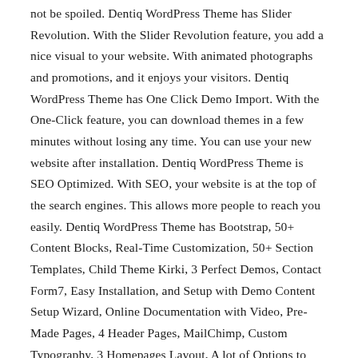not be spoiled. Dentiq WordPress Theme has Slider Revolution. With the Slider Revolution feature, you add a nice visual to your website. With animated photographs and promotions, and it enjoys your visitors. Dentiq WordPress Theme has One Click Demo Import. With the One-Click feature, you can download themes in a few minutes without losing any time. You can use your new website after installation. Dentiq WordPress Theme is SEO Optimized. With SEO, your website is at the top of the search engines. This allows more people to reach you easily. Dentiq WordPress Theme has Bootstrap, 50+ Content Blocks, Real-Time Customization, 50+ Section Templates, Child Theme Kirki, 3 Perfect Demos, Contact Form7, Easy Installation, and Setup with Demo Content Setup Wizard, Online Documentation with Video, Pre-Made Pages, 4 Header Pages, MailChimp, Custom Typography, 3 Homepages Layout, A lot of Options to Manage from Top to Bottom, Additional Widgets Layout, Unlimited Color Options, Live Customizer Preview, 600+ Gooogle Fonts Supported, and much more… You will like The Dentiq WordPress Theme.